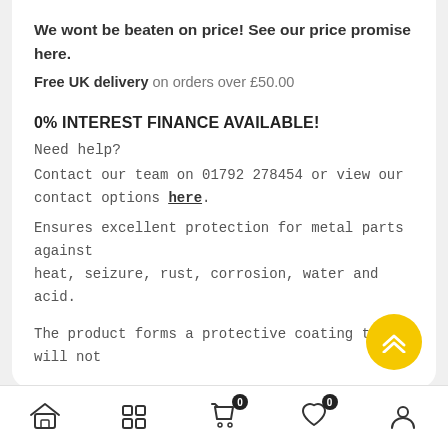We wont be beaten on price! See our price promise here.
Free UK delivery on orders over £50.00
0% INTEREST FINANCE AVAILABLE!
Need help?
Contact our team on 01792 278454 or view our contact options here.
Ensures excellent protection for metal parts against heat, seizure, rust, corrosion, water and acid.
The product forms a protective coating that will not